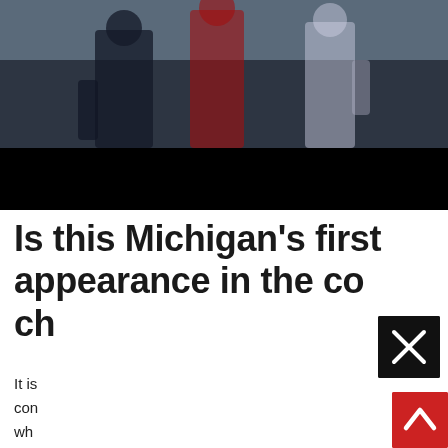[Figure (photo): Football players on field, image darkened with black bar overlay at bottom]
Is this Michigan’s first appearance in the college football playoff championship?
It is commonly known, when Michigan at
[Figure (other): Close button (X) overlay, black square with white X]
[Figure (other): Scroll-to-top button, red square with white up arrow]